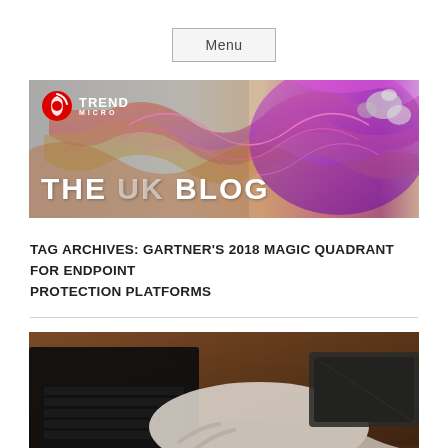Menu
[Figure (illustration): Trend Micro UK Blog banner with colorful swirling abstract art on the right, logo top-left, and 'THE UK BLOG' text bottom-left]
TAG ARCHIVES: GARTNER'S 2018 MAGIC QUADRANT FOR ENDPOINT PROTECTION PLATFORMS
[Figure (photo): Person using a laptop at a wooden table, overhead/angled view showing hands on keyboard and a closed laptop nearby]